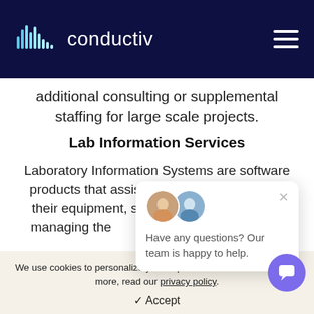conductiv
additional consulting or supplemental staffing for large scale projects.
Lab Information Services
Laboratory Information Systems are software products that assist labs in keeping track of their equipment, samples, and test results, managing the compliance rep
[Figure (other): Chat popup with two avatars showing 'Have any questions? Our team is happy to help.']
We use cookies to personalize your experience on our site. To learn more, read our privacy policy.
✓ Accept